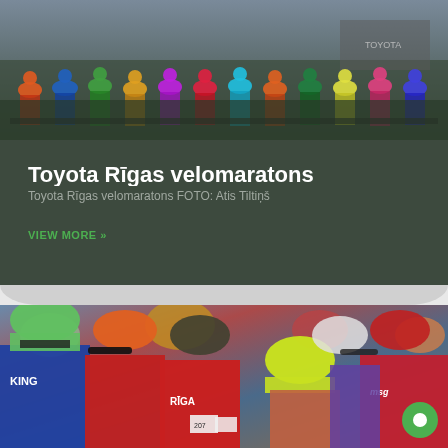[Figure (photo): Group of cyclists lined up at the start of a race, wearing colorful jerseys and helmets, with a Toyota banner visible in the background.]
Toyota Rīgas velomaratons
Toyota Rīgas velomaratons FOTO: Atis Tiltiņš
VIEW MORE »
[Figure (photo): Close-up of a crowd of cyclists wearing helmets and sunglasses, in colorful cycling jerseys including KING and MSG branding, with a red RIGA jersey visible in the center.]